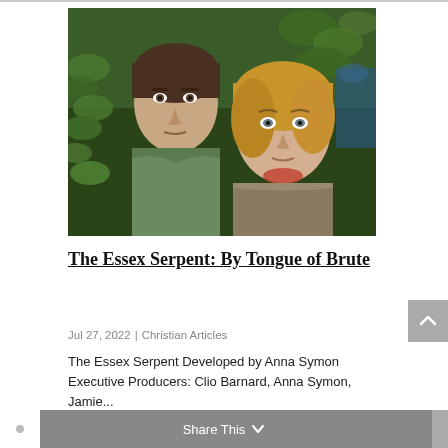[Figure (photo): Promotional photo for The Essex Serpent showing two actors — a dark-haired man in a green scarf and a blonde woman in period costume — against a green floral/serpent decorative background]
The Essex Serpent: By Tongue of Brute
Jul 27, 2022 | Christian Articles
The Essex Serpent Developed by Anna Symon Executive Producers: Clio Barnard, Anna Symon, Jamie...
Share This